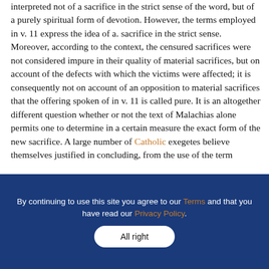interpreted not of a sacrifice in the strict sense of the word, but of a purely spiritual form of devotion. However, the terms employed in v. 11 express the idea of a. sacrifice in the strict sense. Moreover, according to the context, the censured sacrifices were not considered impure in their quality of material sacrifices, but on account of the defects with which the victims were affected; it is consequently not on account of an opposition to material sacrifices that the offering spoken of in v. 11 is called pure. It is an altogether different question whether or not the text of Malachias alone permits one to determine in a certain measure the exact form of the new sacrifice. A large number of Catholic exegetes believe themselves justified in concluding, from the use of the term
By continuing to use this site you agree to our Terms and that you have read our Privacy Policy.
All right